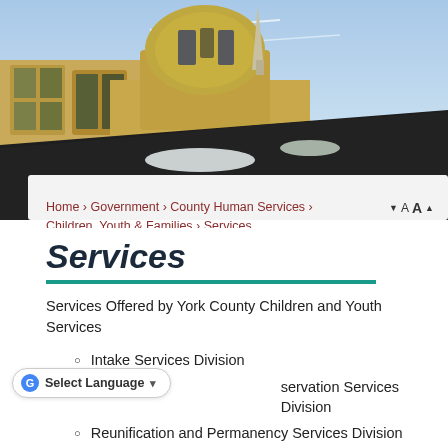[Figure (photo): Exterior photo of a historic government building with a golden dome, stone architecture, and snow on the dark roof. Blue sky with light clouds in background.]
Home › Government › County Human Services › Children, Youth & Families › Services
Services
Services Offered by York County Children and Youth Services
Intake Services Division
…servation Services Division
Reunification and Permanency Services Division